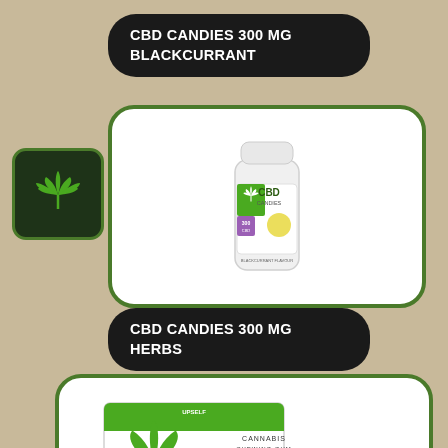CBD CANDIES 300 MG BLACKCURRANT
[Figure (illustration): Cannabis leaf logo icon in dark green rounded square]
[Figure (photo): White pill bottle labeled CBD CANDIES with cannabis leaf logo, 300mg CBD]
CBD CANDIES 300 MG HERBS
[Figure (photo): Cannabis CBD chewing gum box with cannabis leaf branding, 12 CBD pieces, and individual gum packet]